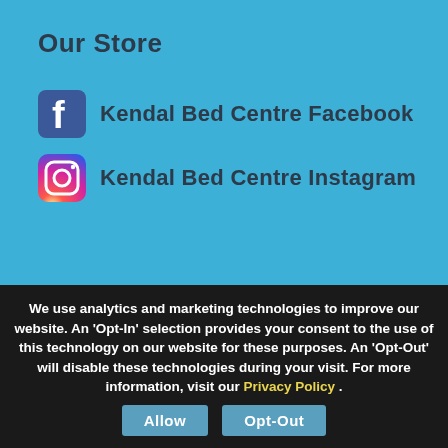Our Store
Kendal Bed Centre Facebook
Kendal Bed Centre Instagram
✉ Contact Us
Divan Beds
Mattresses
Bedsteads
Headboards
We use analytics and marketing technologies to improve our website. An 'Opt-In' selection provides your consent to the use of this technology on our website for these purposes. An 'Opt-Out' will disable these technologies during your visit. For more information, visit our Privacy Policy .